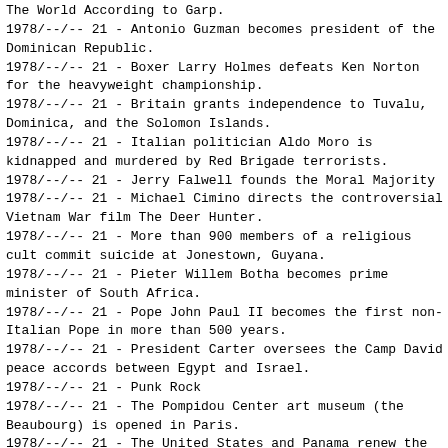The World According to Garp.
1978/--/-- 21 - Antonio Guzman becomes president of the Dominican Republic.
1978/--/-- 21 - Boxer Larry Holmes defeats Ken Norton for the heavyweight championship.
1978/--/-- 21 - Britain grants independence to Tuvalu, Dominica, and the Solomon Islands.
1978/--/-- 21 - Italian politician Aldo Moro is kidnapped and murdered by Red Brigade terrorists.
1978/--/-- 21 - Jerry Falwell founds the Moral Majority
1978/--/-- 21 - Michael Cimino directs the controversial Vietnam War film The Deer Hunter.
1978/--/-- 21 - More than 900 members of a religious cult commit suicide at Jonestown, Guyana.
1978/--/-- 21 - Pieter Willem Botha becomes prime minister of South Africa.
1978/--/-- 21 - Pope John Paul II becomes the first non-Italian Pope in more than 500 years.
1978/--/-- 21 - President Carter oversees the Camp David peace accords between Egypt and Israel.
1978/--/-- 21 - Punk Rock
1978/--/-- 21 - The Pompidou Center art museum (the Beaubourg) is opened in Paris.
1978/--/-- 21 - The United States and Panama renew the Panama Canal treaties.
1978/--/-- 21 - The balloon Double Eagle II completes the first Atlantic crossing.
1978/--/-- 21 - The first human test-tube baby is born in England.
1978/--/-- 21 - The murder of opposition leader Pedro Joaquin Chamorro sparks uprisings in Nicaragua.